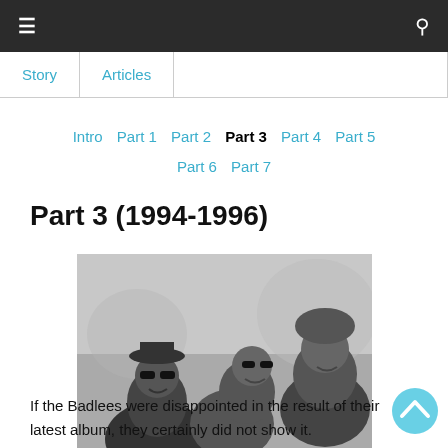≡  [search icon]
Story  |  Articles
Intro  Part 1  Part 2  Part 3  Part 4  Part 5  Part 6  Part 7
Part 3 (1994-1996)
[Figure (photo): Black and white group photo of the Badlees band members, five people grouped together outdoors, smiling at the camera.]
If the Badlees were disappointed in the result of their latest album, they certainly did not show it.